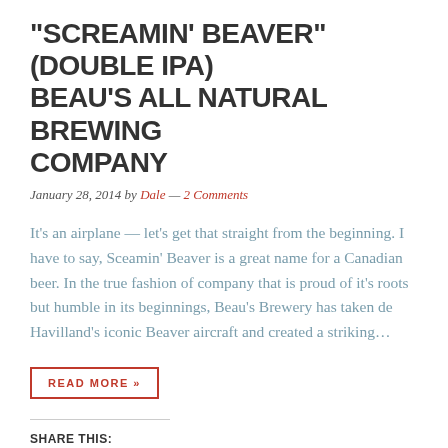"SCREAMIN' BEAVER" (DOUBLE IPA) BEAU'S ALL NATURAL BREWING COMPANY
January 28, 2014 by Dale — 2 Comments
It's an airplane — let's get that straight from the beginning. I have to say, Sceamin' Beaver is a great name for a Canadian beer. In the true fashion of company that is proud of it's roots but humble in its beginnings, Beau's Brewery has taken de Havilland's iconic Beaver aircraft and created a striking…
READ MORE »
SHARE THIS:
Share
LIKE THIS: